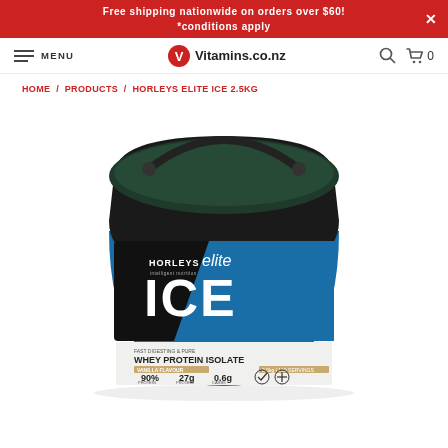Free shipping nationwide on orders over $60! *conditions apply
MENU  Vitamins.co.nz  [search] [cart] 0
HOME / PRODUCTS / HORLEYS ELITE ICE 2.5KG
[Figure (photo): Horleys Elite ICE Whey Protein Isolate 2.5kg tub in black and blue, with handle. Label shows HORLEYS elite ICE, WHEY PROTEIN ISOLATE, Vanilla Flavour. Stats: 90% protein, 27g protein per serving, 0.6g carbs, gluten free, natural icons.]